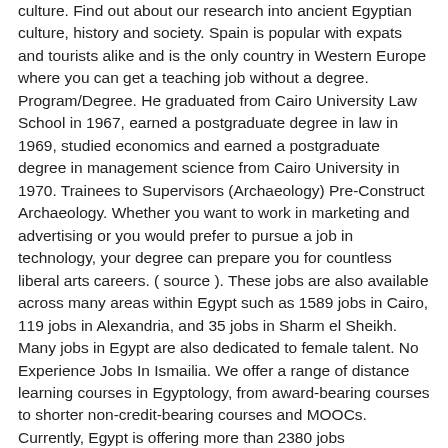culture. Find out about our research into ancient Egyptian culture, history and society. Spain is popular with expats and tourists alike and is the only country in Western Europe where you can get a teaching job without a degree. Program/Degree. He graduated from Cairo University Law School in 1967, earned a postgraduate degree in law in 1969, studied economics and earned a postgraduate degree in management science from Cairo University in 1970. Trainees to Supervisors (Archaeology) Pre-Construct Archaeology. Whether you want to work in marketing and advertising or you would prefer to pursue a job in technology, your degree can prepare you for countless liberal arts careers. ( source ). These jobs are also available across many areas within Egypt such as 1589 jobs in Cairo, 119 jobs in Alexandria, and 35 jobs in Sharm el Sheikh. Many jobs in Egypt are also dedicated to female talent. No Experience Jobs In Ismailia. We offer a range of distance learning courses in Egyptology, from award-bearing courses to shorter non-credit-bearing courses and MOOCs. Currently, Egypt is offering more than 2380 jobs opportunities on Bayt.com. But that varies widely depending on your level of education, and the location in which you work. 401 Biology Degree jobs available in Phoenix, AZ on Indeed.com. Search jobs. Well, here's the thing: you can get a job with a degree in Anthropology, and those who say otherwise are uninformed. The result will be both educational and rewarding for any future or current psychologist. Language, ESL, English teacher jobs Saitama. The list includes job roles, description, location, and more